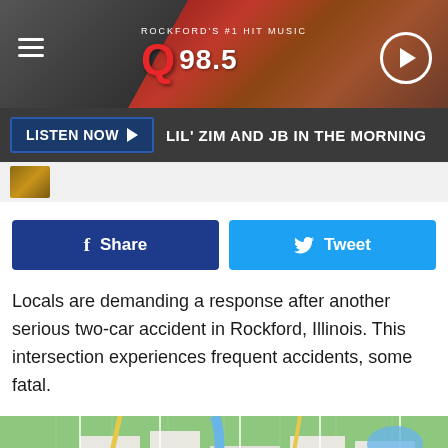[Figure (screenshot): Q98.5 radio station website header with red/brown gradient background, Q logo in red, 98.5 frequency text in white, hamburger menu icon on left, play button on right]
LISTEN NOW ▶  LIL' ZIM AND JB IN THE MORNING
[Figure (screenshot): Thumbnail image of a person]
[Figure (screenshot): Facebook Share button (dark blue) and Twitter Tweet button (light blue)]
Locals are demanding a response after another serious two-car accident in Rockford, Illinois. This intersection experiences frequent accidents, some fatal.
[Figure (map): Google Maps view of Rockford, Illinois area showing street grid with yellow highways, blue river, green park areas, and white urban blocks]